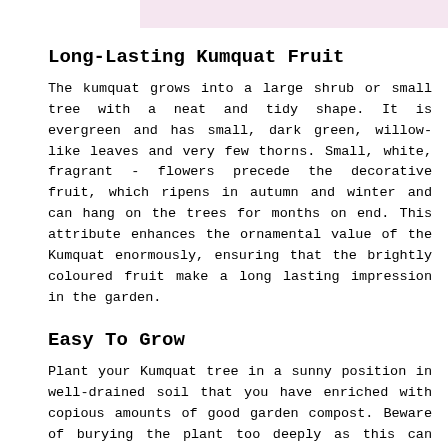[Figure (photo): Partial pink/light colored image at top of page]
Long-Lasting Kumquat Fruit
The kumquat grows into a large shrub or small tree with a neat and tidy shape. It is evergreen and has small, dark green, willow-like leaves and very few thorns. Small, white, fragrant - flowers precede the decorative fruit, which ripens in autumn and winter and can hang on the trees for months on end. This attribute enhances the ornamental value of the Kumquat enormously, ensuring that the brightly coloured fruit make a long lasting impression in the garden.
Easy To Grow
Plant your Kumquat tree in a sunny position in well-drained soil that you have enriched with copious amounts of good garden compost. Beware of burying the plant too deeply as this can lead to ‘collar rot’, which can damage and even kill young trees. Regular monthly applications of a balanced